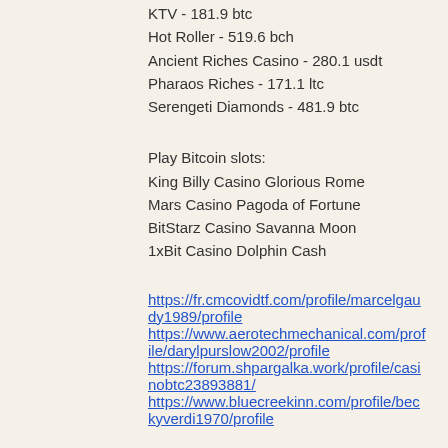KTV - 181.9 btc
Hot Roller - 519.6 bch
Ancient Riches Casino - 280.1 usdt
Pharaos Riches - 171.1 ltc
Serengeti Diamonds - 481.9 btc
Play Bitcoin slots:
King Billy Casino Glorious Rome
Mars Casino Pagoda of Fortune
BitStarz Casino Savanna Moon
1xBit Casino Dolphin Cash
https://fr.cmcovidtf.com/profile/marcelgaudy1989/profile
https://www.aerotechmechanical.com/profile/darylpurslow2002/profile
https://forum.shpargalka.work/profile/casinobtc23893881/
https://www.bluecreekinn.com/profile/beckyverdi1970/profile